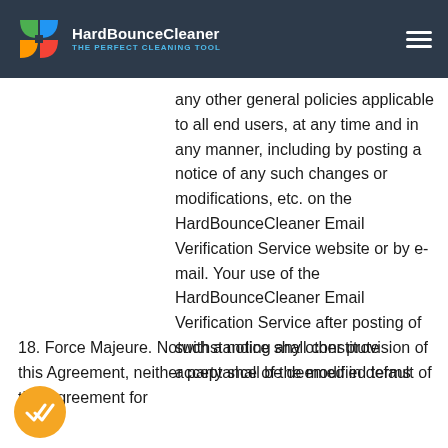HardBounceCleaner THE PERFECT CLEANING TOOL
any other general policies applicable to all end users, at any time and in any manner, including by posting a notice of any such changes or modifications, etc. on the HardBounceCleaner Email Verification Service website or by e-mail. Your use of the HardBounceCleaner Email Verification Service after posting of such a notice shall constitute acceptance of the modified terms
18. Force Majeure. Notwithstanding any other provision of this Agreement, neither party shall be deemed in default of this Agreement for